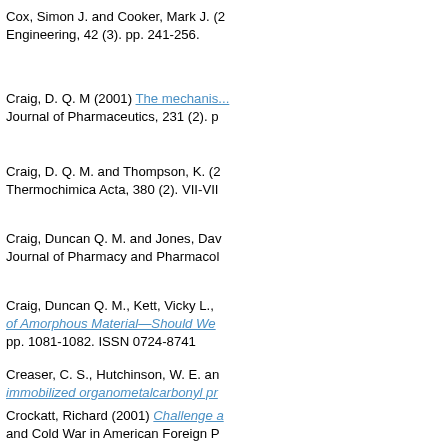Cox, Simon J. and Cooker, Mark J. (2... Engineering, 42 (3). pp. 241-256.
Craig, D. Q. M (2001) The mechanis... Journal of Pharmaceutics, 231 (2). p...
Craig, D. Q. M. and Thompson, K. (2... Thermochimica Acta, 380 (2). VII-VII...
Craig, Duncan Q. M. and Jones, Dav... Journal of Pharmacy and Pharmacol...
Craig, Duncan Q. M., Kett, Vicky L., ... of Amorphous Material—Should We ... pp. 1081-1082. ISSN 0724-8741
Creaser, C. S., Hutchinson, W. E. an... immobilized organometalcarbonyl pr...
Crockatt, Richard (2001) Challenge a... and Cold War in American Foreign P...
Crooks, S., Ledoux, Laure and Fairb... Environmental Law Institute, 23 (1). ...
Cross, JL (2001) Developing Clinical ... Congress, Birmingham, UK, 2001-01...
Cross, JL (2001) A Survey of Physio... in Physiotherapy, 3 (2). pp. 67-75. IS...